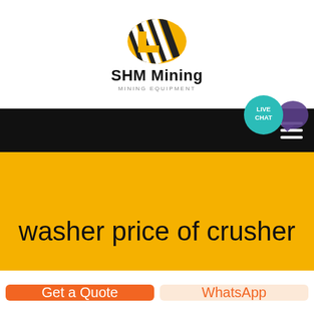[Figure (logo): SHM Mining logo with diagonal black and white stripes on a yellow oval, company name 'SHM Mining' and subtitle 'MINING EQUIPMENT']
SHM Mining MINING EQUIPMENT
washer price of crusher
We endeavor to provide the best with b...
Get a Quote
WhatsApp